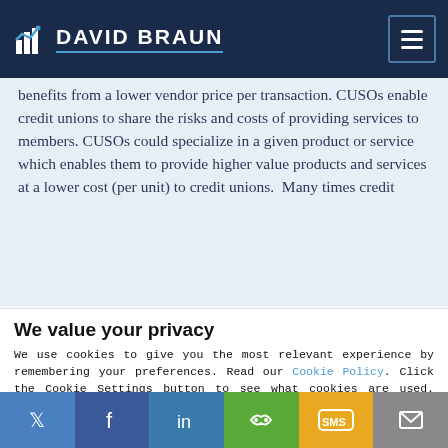DAVID BRAUN
benefits from a lower vendor price per transaction. CUSOs enable credit unions to share the risks and costs of providing services to members. CUSOs could specialize in a given product or service which enables them to provide higher value products and services at a lower cost (per unit) to credit unions.  Many times credit
We value your privacy
We use cookies to give you the most relevant experience by remembering your preferences. Read our Cookie Policy. Click the Cookie Settings button to see what cookies are used. Read our privacy statement
Do not sell my personal information.